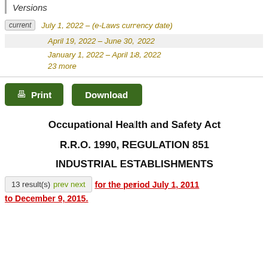Versions
current   July 1, 2022 – (e-Laws currency date)
April 19, 2022 – June 30, 2022
January 1, 2022 – April 18, 2022
23 more
Print   Download
Occupational Health and Safety Act
R.R.O. 1990, REGULATION 851
INDUSTRIAL ESTABLISHMENTS
13 result(s) prev next for the period July 1, 2011 to December 9, 2015.